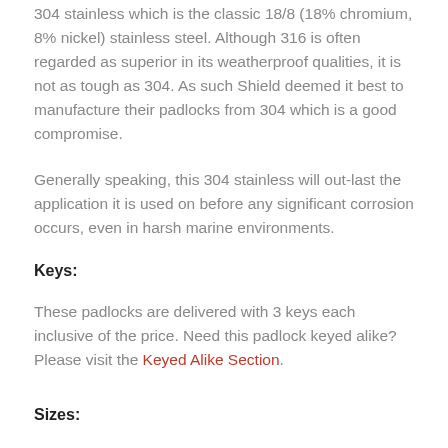304 stainless which is the classic 18/8 (18% chromium, 8% nickel) stainless steel. Although 316 is often regarded as superior in its weatherproof qualities, it is not as tough as 304. As such Shield deemed it best to manufacture their padlocks from 304 which is a good compromise.
Generally speaking, this 304 stainless will out-last the application it is used on before any significant corrosion occurs, even in harsh marine environments.
Keys:
These padlocks are delivered with 3 keys each inclusive of the price. Need this padlock keyed alike? Please visit the Keyed Alike Section.
Sizes: